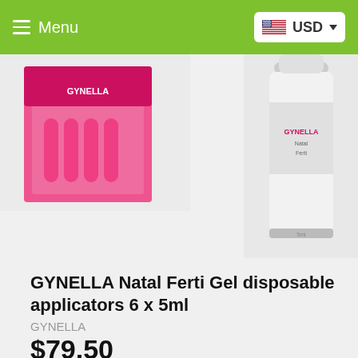Menu  USD
[Figure (photo): Pink product box (GYNELLA) partially visible on left side]
[Figure (photo): White tube of GYNELLA Natal Ferti Gel, partially visible in center]
GYNELLA Natal Ferti Gel disposable applicators 6 x 5ml
GYNELLA
$79.50
Quantity
1
ADD TO CART